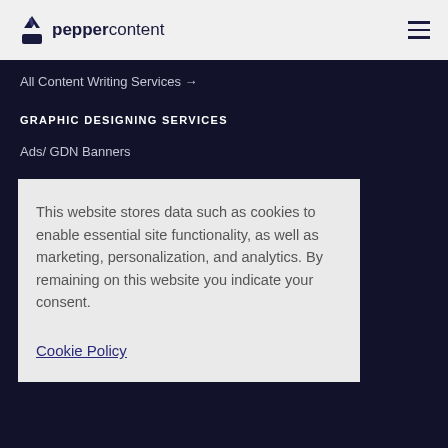peppercontent
All Content Writing Services →
GRAPHIC DESIGNING SERVICES
Ads/ GDN Banners
Emailer Design
This website stores data such as cookies to enable essential site functionality, as well as marketing, personalization, and analytics. By remaining on this website you indicate your consent.
Cookie Policy